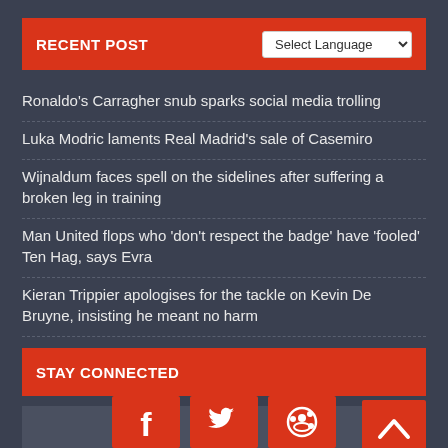RECENT POST
Ronaldo’s Carragher snub sparks social media trolling
Luka Modric laments Real Madrid’s sale of Casemiro
Wijnaldum faces spell on the sidelines after suffering a broken leg in training
Man United flops who ‘don’t respect the badge’ have ‘fooled’ Ten Hag, says Evra
Kieran Trippier apologises for the tackle on Kevin De Bruyne, insisting he meant no harm
Bernardo Silva is not distracted by exit rumours
STAY CONNECTED
[Figure (infographic): Social media icons: Facebook (f), Twitter (bird), Reddit (alien) in red squares, plus a back-to-top chevron button]